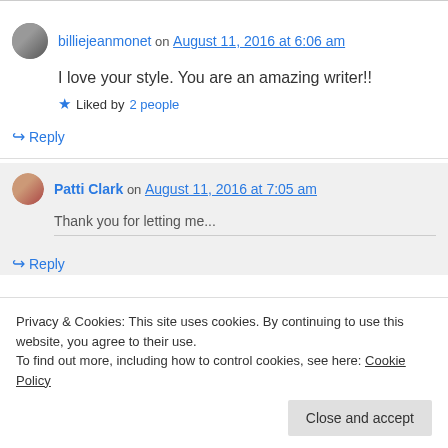billiejeanmonet on August 11, 2016 at 6:06 am
I love your style. You are an amazing writer!!
Liked by 2 people
↳ Reply
Patti Clark on August 11, 2016 at 7:05 am
↳ Reply
Privacy & Cookies: This site uses cookies. By continuing to use this website, you agree to their use. To find out more, including how to control cookies, see here: Cookie Policy
Close and accept